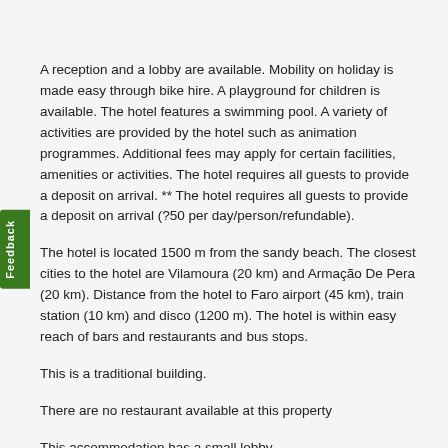A reception and a lobby are available. Mobility on holiday is made easy through bike hire. A playground for children is available. The hotel features a swimming pool. A variety of activities are provided by the hotel such as animation programmes. Additional fees may apply for certain facilities, amenities or activities. The hotel requires all guests to provide a deposit on arrival. ** The hotel requires all guests to provide a deposit on arrival (?50 per day/person/refundable).
The hotel is located 1500 m from the sandy beach. The closest cities to the hotel are Vilamoura (20 km) and Armação De Pera (20 km). Distance from the hotel to Faro airport (45 km), train station (10 km) and disco (1200 m). The hotel is within easy reach of bars and restaurants and bus stops.
This is a traditional building.
There are no restaurant available at this property
This accommodation has a small lobby.